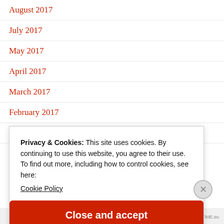August 2017
July 2017
May 2017
April 2017
March 2017
February 2017
January 2017
Privacy & Cookies: This site uses cookies. By continuing to use this website, you agree to their use.
To find out more, including how to control cookies, see here: Cookie Policy
Close and accept
AIRPORT-TIME.eu